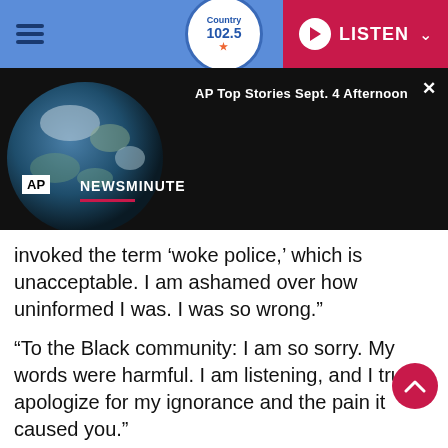Country 102.5 | LISTEN
[Figure (screenshot): AP Newsminute video thumbnail showing Earth globe with overlay text 'AP Top Stories Sept. 4 Afternoon' and AP NEWSMINUTE logo on dark background]
invoked the term ‘woke police,’ which is unacceptable. I am ashamed over how uninformed I was. I was so wrong.”
“To the Black community: I am so sorry. My words were harmful. I am listening, and I truly apologize for my ignorance and the pain it caused you.”